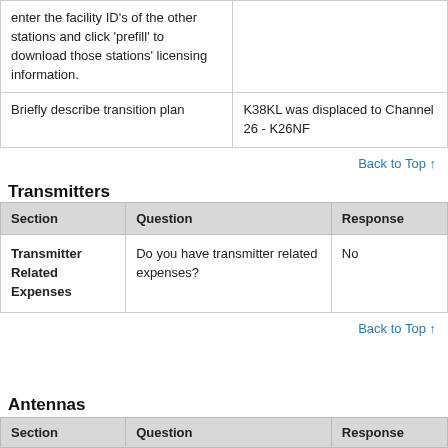|  |  |
| --- | --- |
| enter the facility ID's of the other stations and click 'prefill' to download those stations' licensing information. |  |
| Briefly describe transition plan | K38KL was displaced to Channel 26 - K26NF |
Back to Top ↑
Transmitters
| Section | Question | Response |
| --- | --- | --- |
| Transmitter Related Expenses | Do you have transmitter related expenses? | No |
Back to Top ↑
Antennas
| Section | Question | Response |
| --- | --- | --- |